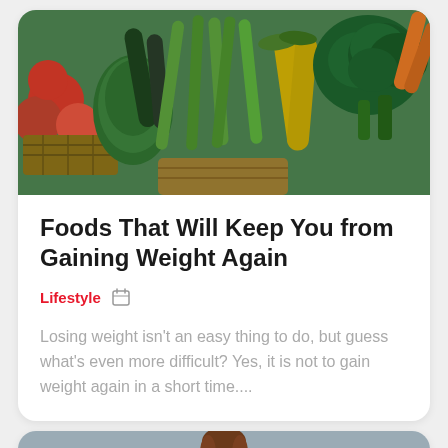[Figure (photo): A colorful market display of fresh vegetables including tomatoes, zucchini, green beans, corn, broccoli, and leafy greens in baskets]
Foods That Will Keep You from Gaining Weight Again
Lifestyle
Losing weight isn't an easy thing to do, but guess what's even more difficult? Yes, it is not to gain weight again in a short time....
[Figure (photo): Partial view of a person, cropped at the bottom of the page]